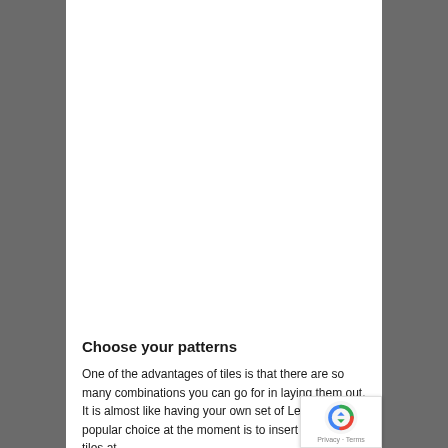Choose your patterns
One of the advantages of tiles is that there are so many combinations you can go for in laying them out. It is almost like having your own set of Lego. A popular choice at the moment is to insert coloured tiles at